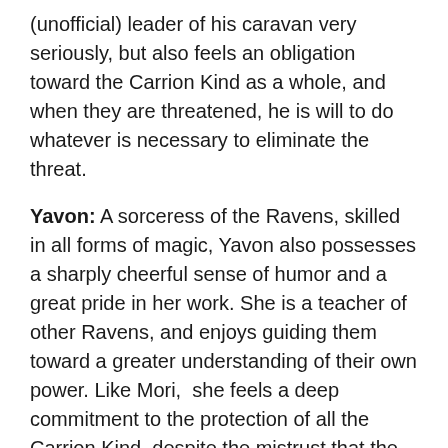(unofficial) leader of his caravan very seriously, but also feels an obligation toward the Carrion Kind as a whole, and when they are threatened, he is will to do whatever is necessary to eliminate the threat.
Yavon: A sorceress of the Ravens, skilled in all forms of magic, Yavon also possesses a sharply cheerful sense of humor and a great pride in her work. She is a teacher of other Ravens, and enjoys guiding them toward a greater understanding of their own power. Like Mori,  she feels a deep commitment to the protection of all the Carrion Kind, despite the mistrust that the Crows and Rooks feel for her people.
Renna: Chief Minister Renna of the Rock is the leader of Lune, and a hero to its people. When the Calamity of the Split Earth nearly destroyed the Crows, she held the city